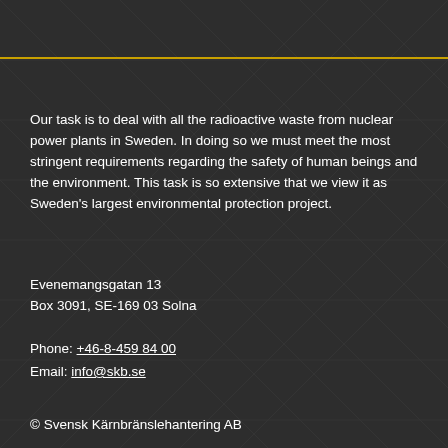Our task is to deal with all the radioactive waste from nuclear power plants in Sweden. In doing so we must meet the most stringent requirements regarding the safety of human beings and the environment. This task is so extensive that we view it as Sweden's largest environmental protection project.
Evenemangsgatan 13
Box 3091, SE-169 03 Solna
Phone: +46-8-459 84 00
Email: info@skb.se
© Svensk Kärnbränslehantering AB